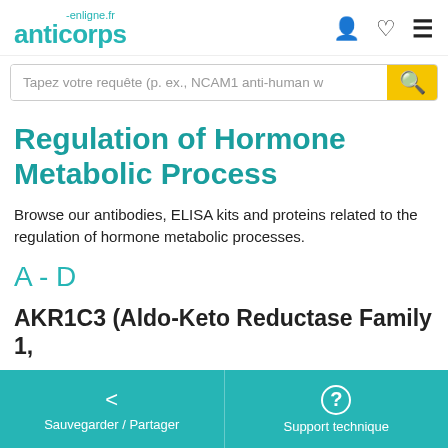anticorps-enligne.fr
Tapez votre requête (p. ex., NCAM1 anti-human w
Regulation of Hormone Metabolic Process
Browse our antibodies, ELISA kits and proteins related to the regulation of hormone metabolic processes.
A - D
AKR1C3 (Aldo-Keto Reductase Family 1,
Sauvegarder / Partager | Support technique